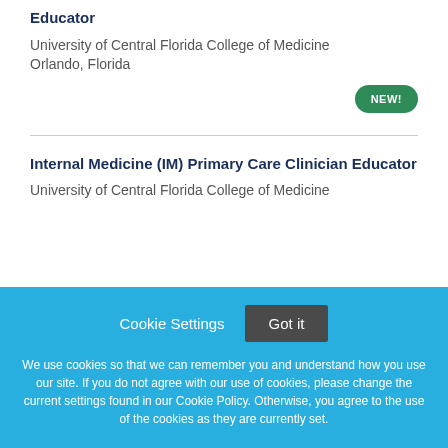Educator
University of Central Florida College of Medicine
Orlando, Florida
NEW!
Internal Medicine (IM) Primary Care Clinician Educator
University of Central Florida College of Medicine
Cookie Settings  Got it
We use cookies so that we can remember you and understand how you use our site. If you do not agree with our use of cookies, please change the current settings found in our Cookie Policy. Otherwise, you agree to the use of the cookies as they are currently set.